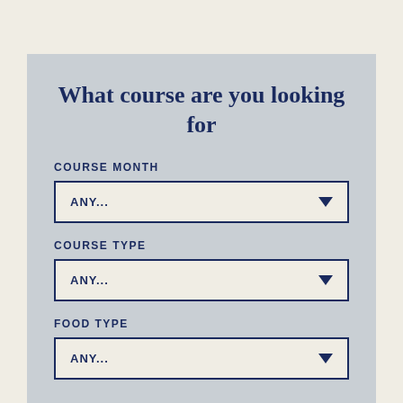What course are you looking for
COURSE MONTH
ANY...
COURSE TYPE
ANY...
FOOD TYPE
ANY...